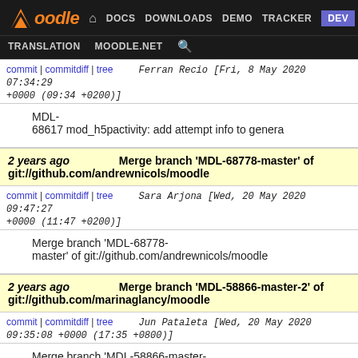Moodle | DOCS | DOWNLOADS | DEMO | TRACKER | DEV | TRANSLATION | MOODLE.NET
commit | commitdiff | tree   Ferran Recio [Fri, 8 May 2020 07:34:29 +0000 (09:34 +0200)]
MDL-68617 mod_h5pactivity: add attempt info to genera
2 years ago   Merge branch 'MDL-68778-master' of git://github.com/andrewnicols/moodle
commit | commitdiff | tree   Sara Arjona [Wed, 20 May 2020 09:47:27 +0000 (11:47 +0200)]
Merge branch 'MDL-68778-master' of git://github.com/andrewnicols/moodle
2 years ago   Merge branch 'MDL-58866-master-2' of git://github.com/marinaglancy/moodle
commit | commitdiff | tree   Jun Pataleta [Wed, 20 May 2020 09:35:08 +0000 (17:35 +0800)]
Merge branch 'MDL-58866-master-2' of git://github.com/marinaglancy/moodle